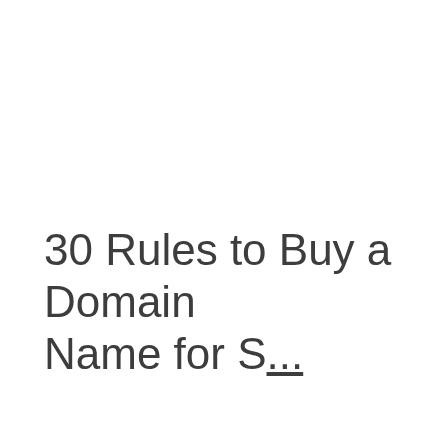30 Rules to Buy a Domain Name for S...